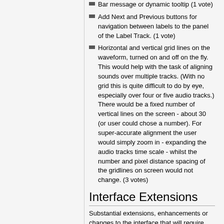Bar message or dynamic tooltip (1 vote)
Add Next and Previous buttons for navigation between labels to the panel of the Label Track. (1 vote)
Horizontal and vertical grid lines on the waveform, turned on and off on the fly. This would help with the task of aligning sounds over multiple tracks. (With no grid this is quite difficult to do by eye, especially over four or five audio tracks.) There would be a fixed number of vertical lines on the screen - about 30 (or user could chose a number). For super-accurate alignment the user would simply zoom in - expanding the audio tracks time scale - whilst the number and pixel distance spacing of the gridlines on screen would not change. (3 votes)
Interface Extensions
Substantial extensions, enhancements or changes to the interface that will require significant coding and testing
FTP and / or RSS support for podcasters (6